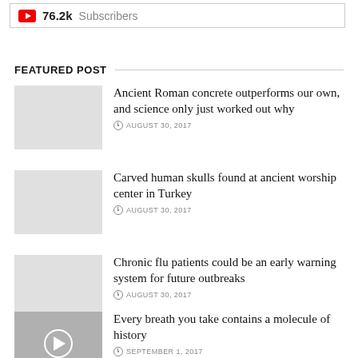[Figure (other): YouTube subscriber count widget showing 76.2k Subscribers]
FEATURED POST
Ancient Roman concrete outperforms our own, and science only just worked out why
AUGUST 30, 2017
Carved human skulls found at ancient worship center in Turkey
AUGUST 30, 2017
Chronic flu patients could be an early warning system for future outbreaks
AUGUST 30, 2017
Every breath you take contains a molecule of history
SEPTEMBER 1, 2017